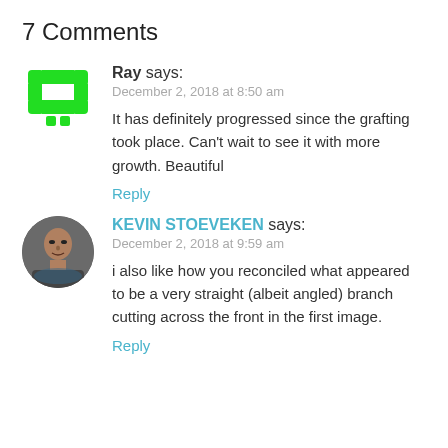7 Comments
Ray says:
December 2, 2018 at 8:50 am

It has definitely progressed since the grafting took place. Can't wait to see it with more growth. Beautiful

Reply
KEVIN STOEVEKEN says:
December 2, 2018 at 9:59 am

i also like how you reconciled what appeared to be a very straight (albeit angled) branch cutting across the front in the first image.

Reply